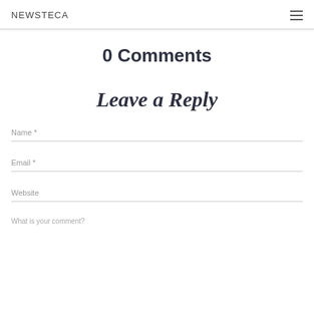NEWSTECA
0 Comments
Leave a Reply
Name *
Email *
Website
What is your comment?